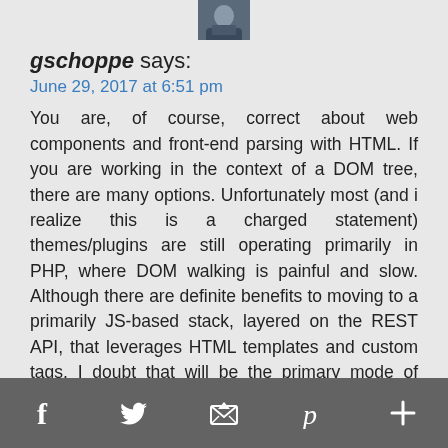[Figure (photo): Small avatar/profile photo of a person in a suit, cropped at top]
gschoppe says:
June 29, 2017 at 6:51 pm
You are, of course, correct about web components and front-end parsing with HTML. If you are working in the context of a DOM tree, there are many options. Unfortunately most (and i realize this is a charged statement) themes/plugins are still operating primarily in PHP, where DOM walking is painful and slow. Although there are definite benefits to moving to a primarily JS-based stack, layered on the REST API, that leverages HTML templates and custom tags, I doubt that will be the primary mode of rendering WordPress content for the next 5 years.
f  [twitter]  [email]  p  +